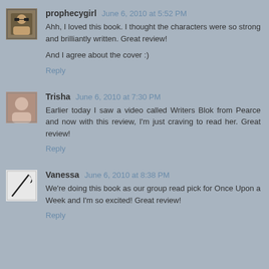prophecygirl  June 6, 2010 at 5:52 PM
Ahh, I loved this book. I thought the characters were so strong and brilliantly written. Great review!

And I agree about the cover :)
Reply
Trisha  June 6, 2010 at 7:30 PM
Earlier today I saw a video called Writers Blok from Pearce and now with this review, I'm just craving to read her. Great review!
Reply
Vanessa  June 6, 2010 at 8:38 PM
We're doing this book as our group read pick for Once Upon a Week and I'm so excited! Great review!
Reply